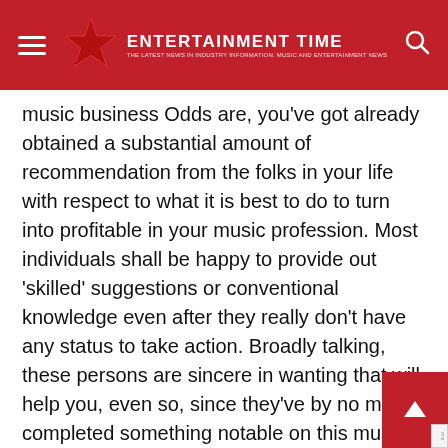ENTERTAINMENT TIME
music business Odds are, you’ve got already obtained a substantial amount of recommendation from the folks in your life with respect to what it is best to do to turn into profitable in your music profession. Most individuals shall be happy to provide out ‘skilled’ suggestions or conventional knowledge even after they really don’t have any status to take action. Broadly talking, these persons are sincere in wanting that will help you, even so, since they’ve by no means completed something notable on this music business, their assistance is extra prone to ship you down the flawed path than to escort you towards success. ‘Taking part in secure’ by working a full-time job and making m on the aspect Most musicians consider that the one